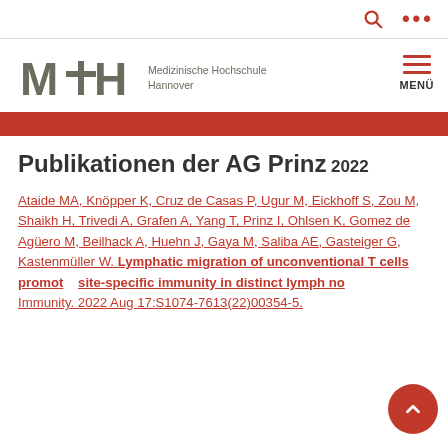MHH – Medizinische Hochschule Hannover | Search | Menu
[Figure (logo): MHH logo with stylized M+H letters and text 'Medizinische Hochschule Hannover']
Publikationen der AG Prinz
2022
Ataide MA, Knöpper K, Cruz de Casas P, Ugur M, Eickhoff S, Zou M, Shaikh H, Trivedi A, Grafen A, Yang T, Prinz I, Ohlsen K, Gomez de Agüero M, Beilhack A, Huehn J, Gaya M, Saliba AE, Gasteiger G, Kastenmüller W. Lymphatic migration of unconventional T cells promotes site-specific immunity in distinct lymph nodes. Immunity. 2022 Aug 17:S1074-7613(22)00354-5.